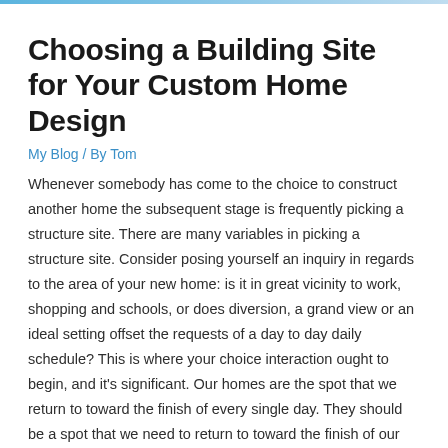Choosing a Building Site for Your Custom Home Design
My Blog / By Tom
Whenever somebody has come to the choice to construct another home the subsequent stage is frequently picking a structure site. There are many variables in picking a structure site. Consider posing yourself an inquiry in regards to the area of your new home: is it in great vicinity to work, shopping and schools, or does diversion, a grand view or an ideal setting offset the requests of a day to day daily schedule? This is where your choice interaction ought to begin, and it's significant. Our homes are the spot that we return to toward the finish of every single day. They should be a spot that we need to return to toward the finish of our day to day exercises and a spot to be glad to call our own.
Possibly you are considering the fundamentals of choosing a...